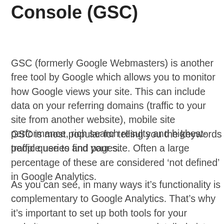Console (GSC)
GSC (formerly Google Webmasters) is another free tool by Google which allows you to monitor how Google views your site. This can include data on your referring domains (traffic to your site from another website), mobile site performance, rich search results and highest-traffic queries and pages.
GSC is most popular for telling you the keywords people use to find your site. Often a large percentage of these are considered ‘not defined’ in Google Analytics.
As you can see, in many ways it’s functionality is complementary to Google Analytics. That’s why it’s important to set up both tools for your website so you can have a more detailed picture of your website’s